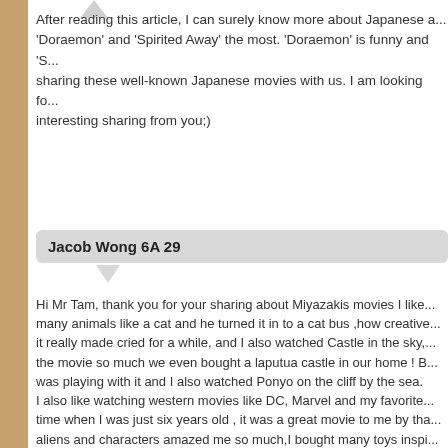After reading this article, I can surely know more about Japanese a... 'Doraemon' and 'Spirited Away' the most. 'Doraemon' is funny and 'S... sharing these well-known Japanese movies with us. I am looking fo... interesting sharing from you;)
Jacob Wong 6A 29
Hi Mr Tam, thank you for your sharing about Miyazakis movies I like... many animals like a cat and he turned it in to a cat bus ,how creative... it really made cried for a while, and I also watched Castle in the sky,... the movie so much we even bought a laputua castle in our home ! B... was playing with it and I also watched Ponyo on the cliff by the sea. I also like watching western movies like DC, Marvel and my favorite... time when I was just six years old , it was a great movie to me by tha... aliens and characters amazed me so much,I bought many toys inspi... Iron Man, Avengers and many superheroes like Doctor Strange ,Spi... from the first movie in2008( Iron Man) until now , all the movies are ... stones, which are all for the 2018-2020 movie Infinity War. By talking about Star Wars, there are many movie coming to cinema... filming Star Wars ,what a waste! They just stopped here and they do... article it taught to look at Japanese movies a new way, by first I th...